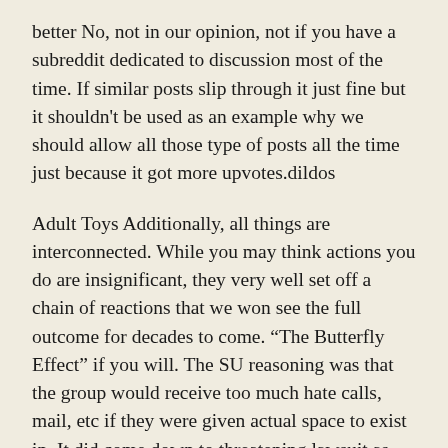better No, not in our opinion, not if you have a subreddit dedicated to discussion most of the time. If similar posts slip through it just fine but it shouldn't be used as an example why we should allow all those type of posts all the time just because it got more upvotes.dildos
Adult Toys Additionally, all things are interconnected. While you may think actions you do are insignificant, they very well set off a chain of reactions that we won see the full outcome for decades to come. “The Butterfly Effect” if you will. The SU reasoning was that the group would receive too much hate calls, mail, etc if they were given actual space to exist in. It did come down to threatening lawsuit as described above. The group still runs a strict “no outing” policy due to the severe homophobia at the university.Adult Toys
Realistic Dildo Adam Eve Rechargeable Couples